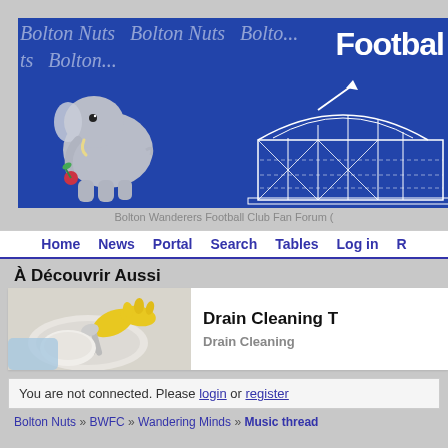[Figure (screenshot): Bolton Nuts forum website header banner with blue background, Bolton Nuts script text repeated, elephant mascot with rose, stadium line-drawing, and 'Footbal' text]
Bolton Wanderers Football Club Fan Forum (
Home | News | Portal | Search | Tables | Log in | R
À Découvrir Aussi
[Figure (photo): Person wearing yellow gloves cleaning a sink drain]
Drain Cleaning T
Drain Cleaning
You are not connected. Please login or register
Bolton Nuts » BWFC » Wandering Minds » Music thread